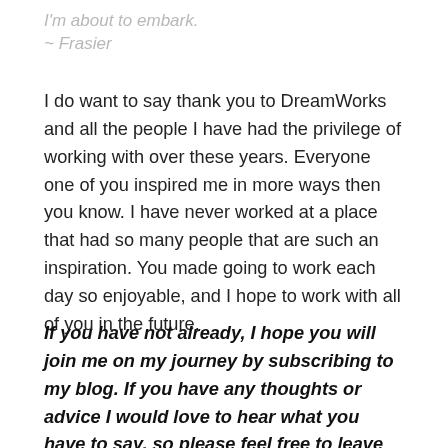I'm about to embark.
~ Frasier
I do want to say thank you to DreamWorks and all the people I have had the privilege of working with over these years.  Everyone one of you inspired me in more ways then you know.  I have never worked at a place that had so many people that are such an inspiration.  You made going to work each day so enjoyable, and I hope to work with all of you in the future.
If you have not already, I hope you will join me on my journey by subscribing to my blog.  If you have any thoughts or advice I would love to hear what you have to say, so please feel free to leave me any comments below. Otherwise, be sure to stay connected with me on